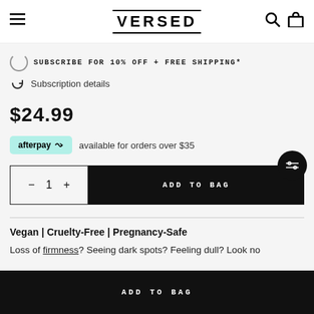VERSED
SUBSCRIBE FOR 10% OFF + FREE SHIPPING*
Subscription details
$24.99
afterpay available for orders over $35
– 1 +   ADD TO BAG
Vegan | Cruelty-Free | Pregnancy-Safe
Loss of firmness? Seeing dark spots? Feeling dull? Look no
ADD TO BAG